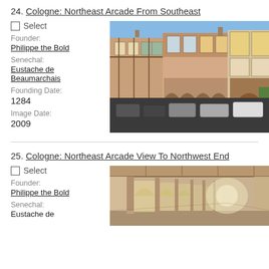24. Cologne: Northeast Arcade From Southeast
Select
Founder: Philippe the Bold
Senechal: Eustache de Beaumarchais
Founding Date: 1284
Image Date: 2009
[Figure (photo): Photo of Cologne northeast arcade from southeast - medieval French bastide town square with half-timbered and brick buildings featuring covered arcades, cars parked in foreground on dark pavement, blue sky overhead]
25. Cologne: Northeast Arcade View To Northwest End
Select
Founder: Philippe the Bold
Senechal: Eustache de
[Figure (photo): Photo of Cologne northeast arcade interior view toward northwest end - covered stone arcade corridor with arched openings along the right side, receding into distance]